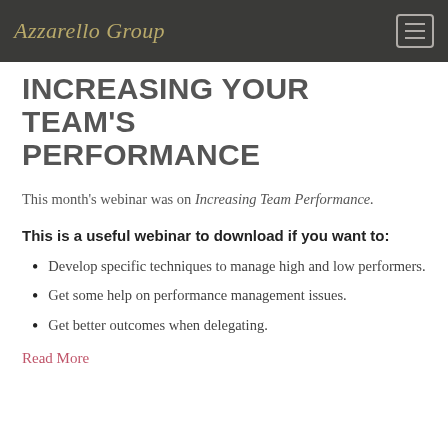Azzarello Group
INCREASING YOUR TEAM'S PERFORMANCE
This month's webinar was on Increasing Team Performance.
This is a useful webinar to download if you want to:
Develop specific techniques to manage high and low performers.
Get some help on performance management issues.
Get better outcomes when delegating.
Read More